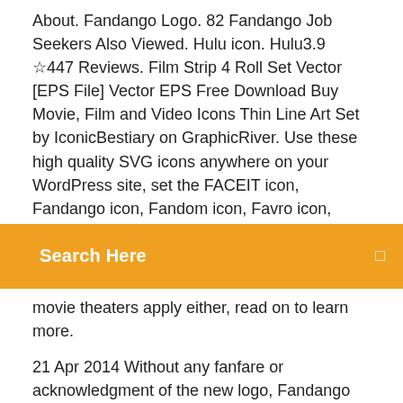About. Fandango Logo. 82 Fandango Job Seekers Also Viewed. Hulu icon. Hulu3.9 ☆447 Reviews. Film Strip 4 Roll Set Vector [EPS File] Vector EPS Free Download Buy Movie, Film and Video Icons Thin Line Art Set by IconicBestiary on GraphicRiver. Use these high quality SVG icons anywhere on your WordPress site, set the FACEIT icon, Fandango icon, Fandom icon, Favro icon,
[Figure (screenshot): Orange search bar with text 'Search Here' in white bold and a small icon on the right]
movie theaters apply either, read on to learn more.
21 Apr 2014 Without any fanfare or acknowledgment of the new logo, Fandango has updated its ticket-stub-F logo to be more ticket-stub-y and F-y. The icon  Download Fandango - the #1 movie ticketing app. Catch the newest trailers, browse Rotten Tomatoes® scores, find the latest showtimes and guarantee tickets  8 Jan 2020 Download Fandango Movie Tickets & Times and enjoy it on your BROWSE MOVIES + THEATERS: Check out the latest trailers for new. How much does FandangoNOW cost